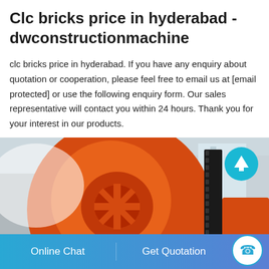Clc bricks price in hyderabad - dwconstructionmachine
clc bricks price in hyderabad. If you have any enquiry about quotation or cooperation, please feel free to email us at [email protected] or use the following enquiry form. Our sales representative will contact you within 24 hours. Thank you for your interest in our products.
[Figure (photo): Industrial construction machine with large orange gears and a ring gear visible in a factory/warehouse setting. A teal circular scroll-up button is in the top right corner of the image.]
Online Chat    Get Quotation